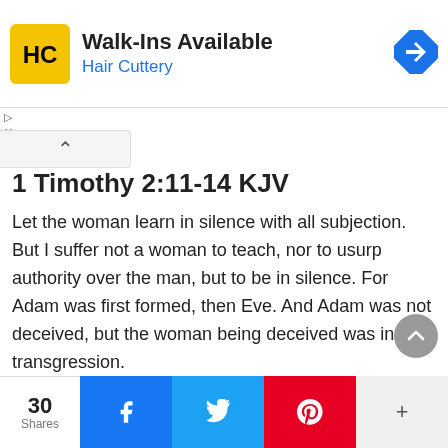[Figure (logo): Hair Cuttery advertisement banner with HC logo in yellow square, 'Walk-Ins Available' heading, and 'Hair Cuttery' subtitle in blue]
1 Timothy 2:11-14 KJV
Let the woman learn in silence with all subjection. But I suffer not a woman to teach, nor to usurp authority over the man, but to be in silence. For Adam was first formed, then Eve. And Adam was not deceived, but the woman being deceived was in the transgression.
Read full chapter